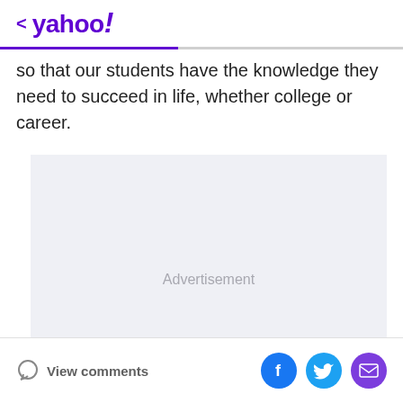< yahoo!
so that our students have the knowledge they need to succeed in life, whether college or career.
[Figure (other): Advertisement placeholder box with light gray background]
View comments | [Facebook] [Twitter] [Email]